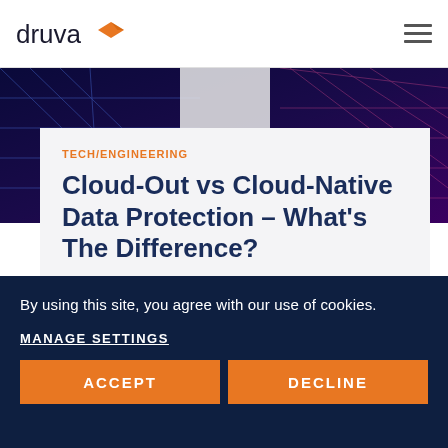druva
[Figure (photo): Abstract tech/networking background image with dark blue and purple tones, geometric grid lines and bokeh light effects]
TECH/ENGINEERING
Cloud-Out vs Cloud-Native Data Protection – What's The Difference?
By using this site, you agree with our use of cookies.
MANAGE SETTINGS
ACCEPT
DECLINE